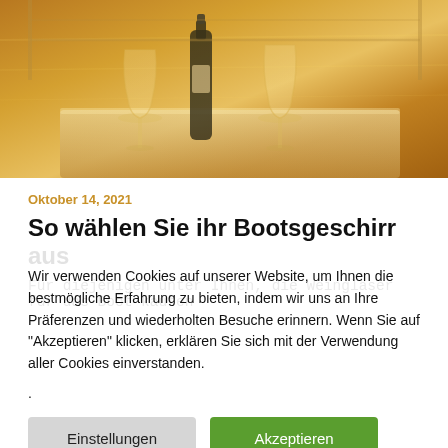[Figure (photo): Photo of wine glasses and a bottle on a tray, warm golden/sunset tones, boat deck setting]
Oktober 14, 2021
So wählen Sie ihr Bootsgeschirr aus
Für diejenigen unter Ihnen, die Weingläser für das Boot kaufen
Wir verwenden Cookies auf unserer Website, um Ihnen die bestmögliche Erfahrung zu bieten, indem wir uns an Ihre Präferenzen und wiederholten Besuche erinnern. Wenn Sie auf "Akzeptieren" klicken, erklären Sie sich mit der Verwendung aller Cookies einverstanden.
.
Einstellungen
Akzeptieren